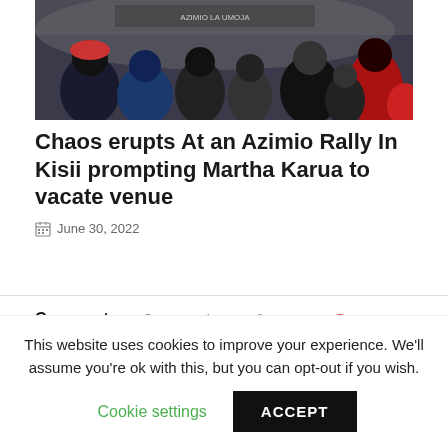[Figure (photo): Crowd of people at a rally, dark and smoky atmosphere, people wearing red and blue clothing]
Chaos erupts At an Azimio Rally In Kisii prompting Martha Karua to vacate venue
June 30, 2022
Comments  Community  Login
This website uses cookies to improve your experience. We'll assume you're ok with this, but you can opt-out if you wish.
Cookie settings  ACCEPT